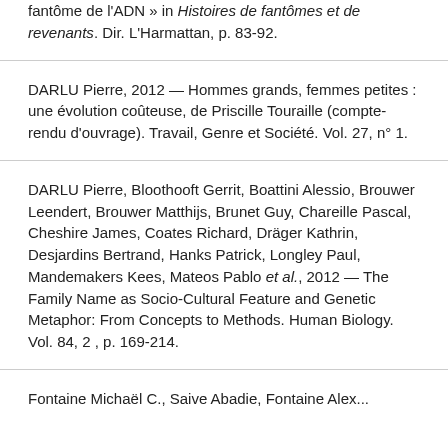fantôme de l'ADN » in Histoires de fantômes et de revenants. Dir. L'Harmattan, p. 83-92.
DARLU Pierre, 2012 — Hommes grands, femmes petites : une évolution coûteuse, de Priscille Touraille (compte-rendu d'ouvrage). Travail, Genre et Société. Vol. 27, n° 1.
DARLU Pierre, Bloothooft Gerrit, Boattini Alessio, Brouwer Leendert, Brouwer Matthijs, Brunet Guy, Chareille Pascal, Cheshire James, Coates Richard, Dräger Kathrin, Desjardins Bertrand, Hanks Patrick, Longley Paul, Mandemakers Kees, Mateos Pablo et al., 2012 — The Family Name as Socio-Cultural Feature and Genetic Metaphor: From Concepts to Methods. Human Biology. Vol. 84, 2 , p. 169-214.
Fontaine Michaël C., Saive Abadie, Fontaine Alex...